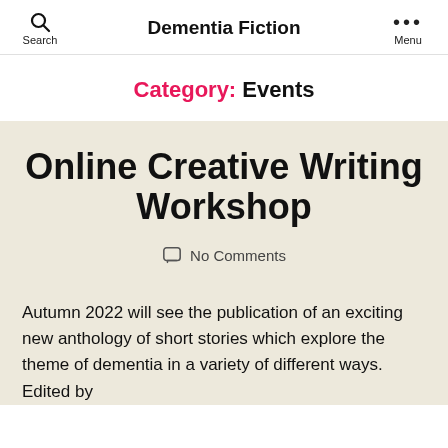Search   Dementia Fiction   Menu
Category: Events
Online Creative Writing Workshop
No Comments
Autumn 2022 will see the publication of an exciting new anthology of short stories which explore the theme of dementia in a variety of different ways. Edited by